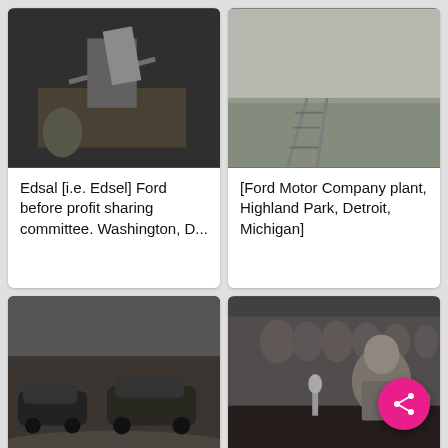[Figure (photo): Black and white photo of Edsal (Edsel) Ford at a desk with papers, Washington D.C.]
Edsal [i.e. Edsel] Ford before profit sharing committee. Washington, D...
[Figure (photo): Black and white aerial/ground photo of Ford Motor Company plant, Highland Park, Detroit, Michigan]
[Ford Motor Company plant, Highland Park, Detroit, Michigan]
[Figure (photo): Black and white photo of vintage cars parked inside what appears to be an underground or cave-like structure]
[Figure (photo): Black and white photo of a man in a suit sitting at a table with microphones, speaking to a group of men seated behind him]